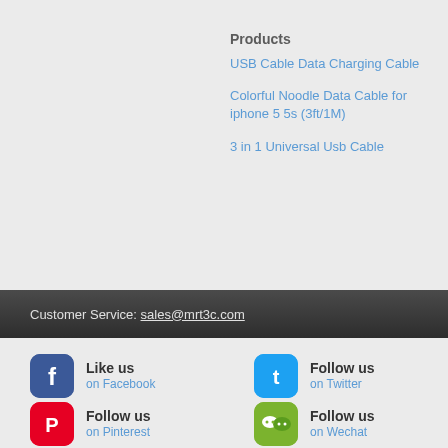Products
USB Cable Data Charging Cable
Colorful Noodle Data Cable for iphone 5 5s (3ft/1M)
3 in 1 Universal Usb Cable
Customer Service: sales@mrt3c.com
Like us on Facebook
Follow us on Twitter
Follow us on Pinterest
Follow us on Wechat